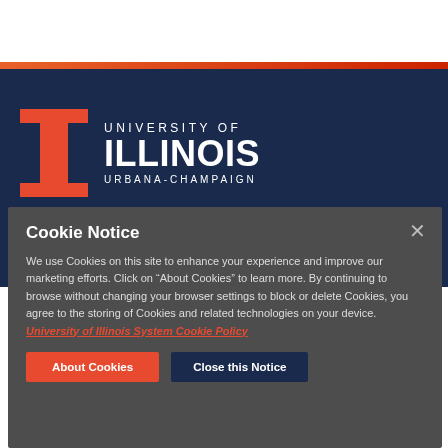[Figure (logo): University of Illinois Urbana-Champaign logo with Block-I mark in orange on navy background, with text UNIVERSITY OF ILLINOIS URBANA-CHAMPAIGN in white]
Cookie Notice
We use Cookies on this site to enhance your experience and improve our marketing efforts. Click on "About Cookies" to learn more. By continuing to browse without changing your browser settings to block or delete Cookies, you agree to the storing of Cookies and related technologies on your device. University of Illinois System Cookie Policy